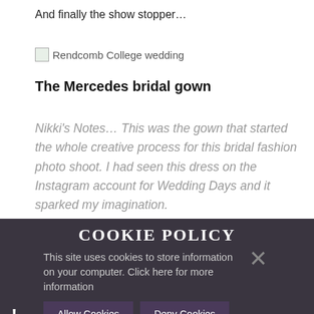And finally the show stopper…
[Figure (photo): Broken image placeholder labeled 'Rendcomb College wedding']
The Mercedes bridal gown
Nikki's Notes… This was the gown that started the whole creative process for this bridal fashion photo shoot. I had seen this dress on the Instagram account for Wedding Days and it sparked my imagination.
COOKIE POLICY
This site uses cookies to store information on your computer. Click here for more information
Allow Cookies   Deny Cookies